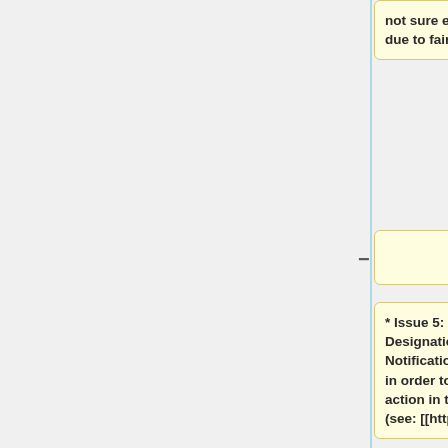not sure exactly who/where to direct due to fairly broad scope.
–
* Issue 5: We need a Service Provider Designation of Agent to Receive Notification of Claims of Infringement in order to shelter us from legal action in the event of a DMCA notice (see: [[http://copyrigh